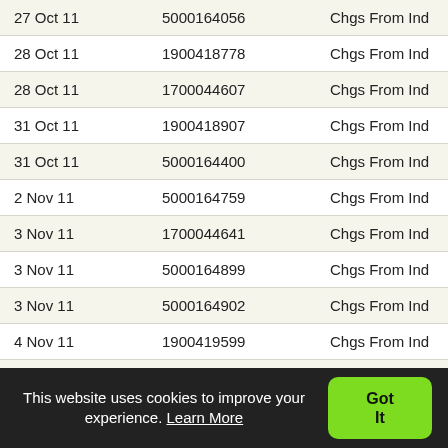| Date | Number | Description |
| --- | --- | --- |
| 27 Oct 11 | 5000164056 | Chgs From Ind |
| 28 Oct 11 | 1900418778 | Chgs From Ind |
| 28 Oct 11 | 1700044607 | Chgs From Ind |
| 31 Oct 11 | 1900418907 | Chgs From Ind |
| 31 Oct 11 | 5000164400 | Chgs From Ind |
| 2 Nov 11 | 5000164759 | Chgs From Ind |
| 3 Nov 11 | 1700044641 | Chgs From Ind |
| 3 Nov 11 | 5000164899 | Chgs From Ind |
| 3 Nov 11 | 5000164902 | Chgs From Ind |
| 4 Nov 11 | 1900419599 | Chgs From Ind |
| 7 Nov 11 | 1900419653 | Chgs From Ind |
| 8 Nov 11 | 5105696391 | Chgs From Ind |
| 8 Nov 11 | 5105696392 | Chgs From Ind |
This website uses cookies to improve your experience. Learn More